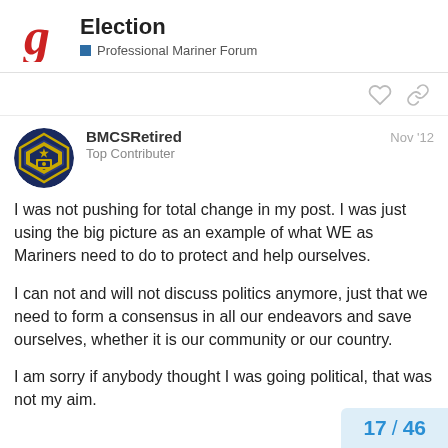Election — Professional Mariner Forum
BMCSRetired — Top Contributer — Nov '12
I was not pushing for total change in my post. I was just using the big picture as an example of what WE as Mariners need to do to protect and help ourselves.

I can not and will not discuss politics anymore, just that we need to form a consensus in all our endeavors and save ourselves, whether it is our community or our country.

I am sorry if anybody thought I was going political, that was not my aim.
17 / 46